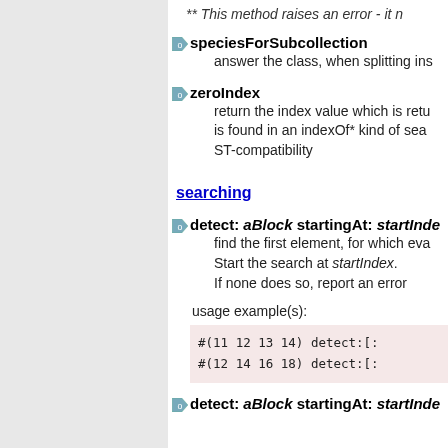** This method raises an error - it n
speciesForSubcollection — answer the class, when splitting ins
zeroIndex — return the index value which is retu is found in an indexOf* kind of sea ST-compatibility
searching
detect: aBlock startingAt: startInde — find the first element, for which eva Start the search at startIndex. If none does so, report an error
usage example(s):
#(11 12 13 14) detect:[:
#(12 14 16 18) detect:[:
detect: aBlock startingAt: startInde